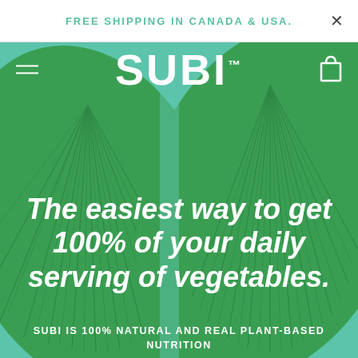FREE SHIPPING IN CANADA & USA.
[Figure (screenshot): SUBI brand logo in large white bold italic text centered on teal/mint green background, with hamburger menu icon on left and shopping bag icon on right]
[Figure (photo): Close-up photograph of large green tropical leaf with prominent ribbed veining, filling the entire background of the hero area]
The easiest way to get 100% of your daily serving of vegetables.
SUBI IS 100% NATURAL AND REAL PLANT-BASED NUTRITION